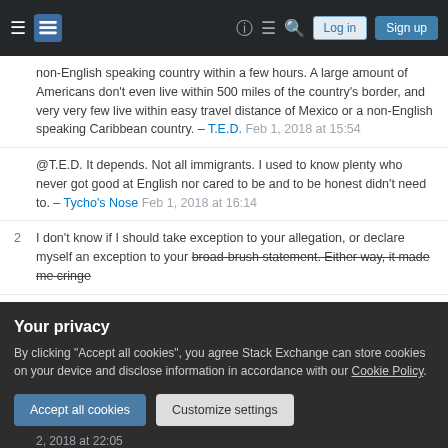Stack Exchange navigation bar with hamburger, logo, help, chat, search, Log in, Sign up
non-English speaking country within a few hours. A large amount of Americans don't even live within 500 miles of the country's border, and very very few live within easy travel distance of Mexico or a non-English speaking Caribbean country. – T.E.D. Feb 1, 2018 at 15:54
@T.E.D. It depends. Not all immigrants. I used to know plenty who never got good at English nor cared to be and to be honest didn't need to. – Tycho's Nose Feb 1, 2018 at 16:14
2  I don't know if I should take exception to your allegation, or declare myself an exception to your broad-brush statement. Either way, it made me cringe
Your privacy
By clicking "Accept all cookies", you agree Stack Exchange can store cookies on your device and disclose information in accordance with our Cookie Policy.
Accept all cookies  Customize settings
2, 2018 at 22:05